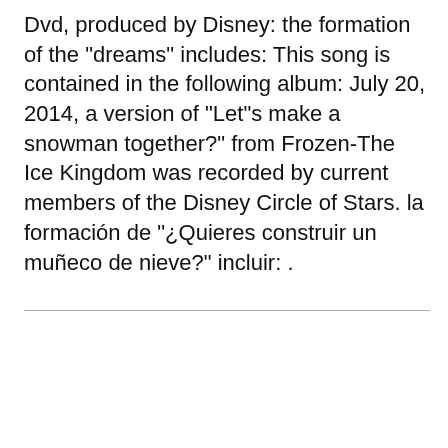Dvd, produced by Disney: the formation of the "dreams" includes: This song is contained in the following album: July 20, 2014, a version of "Let"s make a snowman together?" from Frozen-The Ice Kingdom was recorded by current members of the Disney Circle of Stars. la formación de "¿Quieres construir un muñeco de nieve?" incluir: .